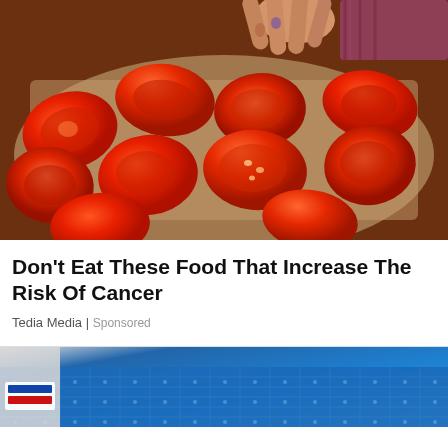[Figure (photo): Hands touching halved red tomatoes spread on a baking tray]
Don't Eat These Food That Increase The Risk Of Cancer
Tedia Media | Sponsored
[Figure (photo): Partial view of a building exterior with blue glass facade and signage]